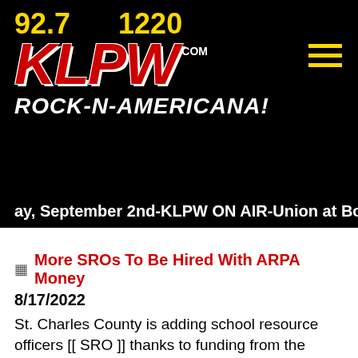[Figure (logo): KLPW radio station logo with frequencies 92.7 and 1220, tagline ROCK-N-AMERICANA! on black background]
ay, September 2nd-KLPW ON AIR-Union at Borgia-F
More SROs To Be Hired With ARPA Money
8/17/2022
St. Charles County is adding school resource officers [[ SRO ]] thanks to funding from the American Rescue Plan Act. The school district is receiving two-point-two-million dollars to hire14 additional officers assigned to pr ...M